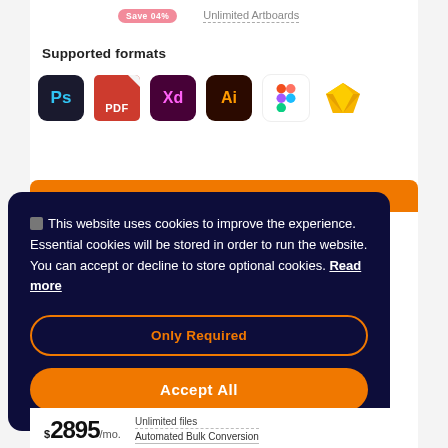Save 04%
Unlimited Artboards
Supported formats
[Figure (screenshot): Row of app format icons: Photoshop (Ps), PDF, Adobe XD (Xd), Illustrator (Ai), Figma, Sketch]
🔒 This website uses cookies to improve the experience. Essential cookies will be stored in order to run the website. You can accept or decline to store optional cookies. Read more
Only Required
Accept All
Unlimited files
$2895/mo. Automated Bulk Conversion